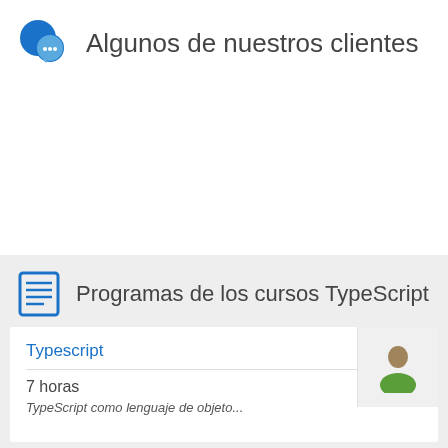Algunos de nuestros clientes
Programas de los cursos TypeScript
Typescript
7 horas
TypeScript como lenguaje de objeto...